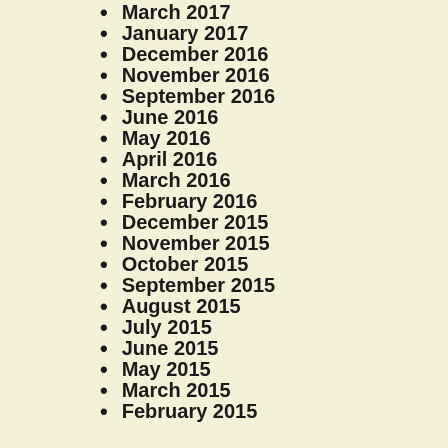March 2017
January 2017
December 2016
November 2016
September 2016
June 2016
May 2016
April 2016
March 2016
February 2016
December 2015
November 2015
October 2015
September 2015
August 2015
July 2015
June 2015
May 2015
March 2015
February 2015